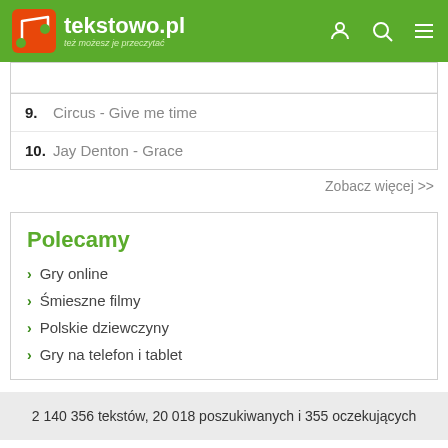[Figure (screenshot): tekstowo.pl website header with green background, logo (orange music note icon), site name 'tekstowo.pl', tagline 'też możesz je przeczytać', and navigation icons (user, search, menu)]
9. Circus - Give me time
10. Jay Denton - Grace
Zobacz więcej >>
Polecamy
Gry online
Śmieszne filmy
Polskie dziewczyny
Gry na telefon i tablet
2 140 356 tekstów, 20 018 poszukiwanych i 355 oczekujących
Największy serwis z tekstami piosenek w Polsce. Każdy może